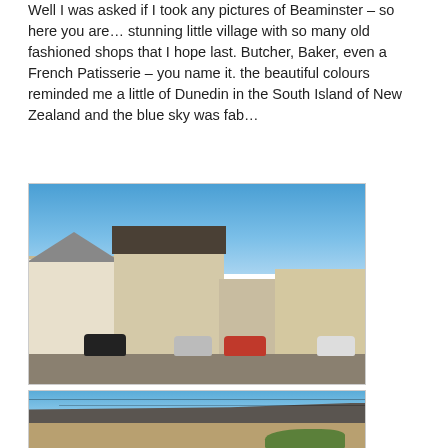Well I was asked if I took any pictures of Beaminster – so here you are… stunning little village with so many old fashioned shops that I hope last. Butcher, Baker, even a French Patisserie – you name it. the beautiful colours reminded me a little of Dunedin in the South Island of New Zealand and the blue sky was fab…
[Figure (photo): Photograph of Beaminster town square showing a row of cream and stone-coloured buildings including shops, parked cars in the foreground, a street lamp, and a vivid blue sky above.]
[Figure (photo): Photograph of a Cotswold stone cottage with a slate roof, green climbing plants on the right side, telegraph wires overhead, and blue sky above. Image is cropped showing only the upper portion.]